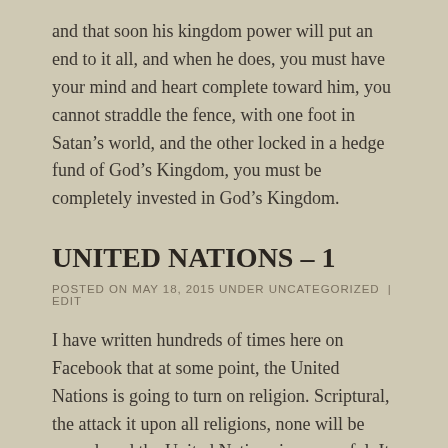and that soon his kingdom power will put an end to it all, and when he does, you must have your mind and heart complete toward him, you cannot straddle the fence, with one foot in Satan’s world, and the other locked in a hedge fund of God’s Kingdom, you must be completely invested in God’s Kingdom.
UNITED NATIONS – 1
POSTED ON MAY 18, 2015 UNDER UNCATEGORIZED | EDIT
I have written hundreds of times here on Facebook that at some point, the United Nations is going to turn on religion. Scriptural, the attack it upon all religions, none will be spared, and the United Nations is successful. It will take a United Nations military force to do that.